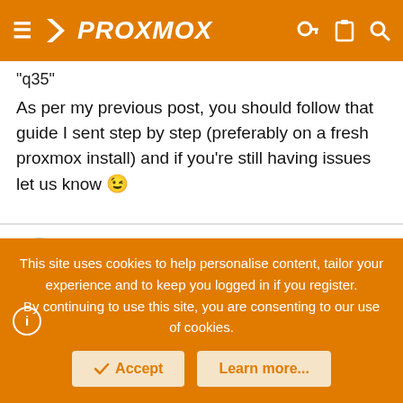PROXMOX
"q35"
As per my previous post, you should follow that guide I sent step by step (preferably on a fresh proxmox install) and if you're still having issues let us know 😉
Qazt23
New Member
Aug 5, 2020  #10
This site uses cookies to help personalise content, tailor your experience and to keep you logged in if you register.
By continuing to use this site, you are consenting to our use of cookies.
Accept  Learn more...